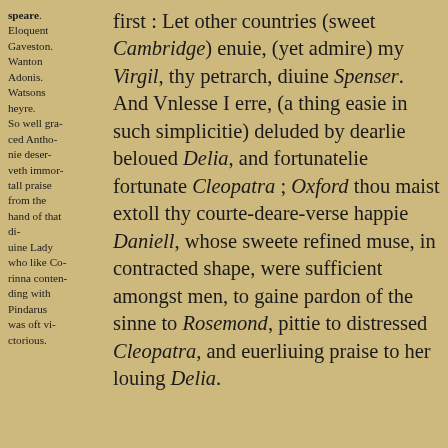speare. Eloquent Gaveston. Wanton Adonis. Watsons heyre. So well graced Anthonie deserveth immortall praise from the hand of that diuine Lady who like Corinna contending with Pindarus was oft victorious.
first : Let other countries (sweet Cambridge) enuie, (yet admire) my Virgil, thy petrarch, diuine Spenser. And Vnlesse I erre, (a thing easie in such simplicitie) deluded by dearlie beloued Delia, and fortunatelie fortunate Cleopatra ; Oxford thou maist extoll thy courte-deare-verse happie Daniell, whose sweete refined muse, in contracted shape, were sufficient amongst men, to gaine pardon of the sinne to Rosemond, pittie to distressed Cleopatra, and euerliuing praise to her louing Delia.